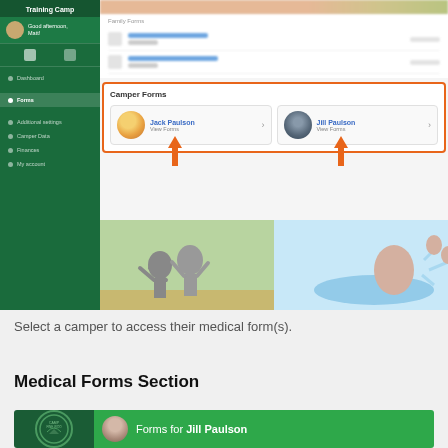[Figure (screenshot): Screenshot of a camp management web application showing a sidebar navigation with 'Training Camp' header, user greeting 'Good afternoon, Matt!', and main content area with Family Forms section and a highlighted Camper Forms section showing two camper cards: Jack Paulson and Jill Paulson, each with 'View Forms' link. Orange arrows point to each camper card. Below is a photo strip with children and swimming images.]
Select a camper to access their medical form(s).
Medical Forms Section
[Figure (screenshot): Bottom preview showing camp logo on dark green background and a green bar with 'Forms for Jill Paulson' text and camper photo.]